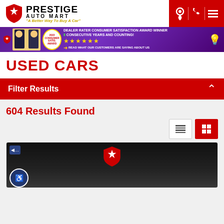[Figure (logo): Prestige Auto Mart logo with red shield icon, bold PRESTIGE text, AUTO MART subtitle, and yellow italic tagline 'A Better Way To Buy A Car']
[Figure (infographic): Dealer Rater Consumer Satisfaction Award Winner banner with purple background, cartoon characters, 2022 award badge, 5 gold stars, text: DEALER RATER CONSUMER SATISFACTION AWARD WINNER 8 CONSECUTIVE YEARS AND COUNTING! READ WHAT OUR CUSTOMERS ARE SAYING ABOUT US]
USED CARS
Filter Results
604 Results Found
[Figure (photo): Dark background car listing placeholder image with Prestige Auto Mart red shield logo centered, bottom shows front of a dark vehicle]